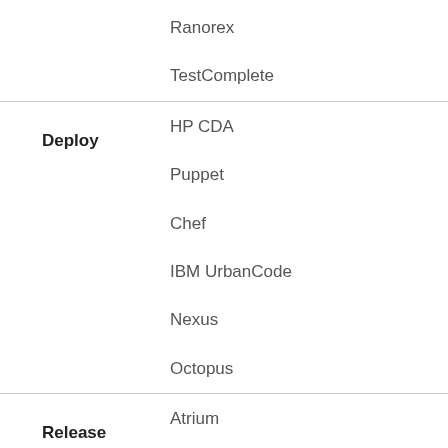Ranorex
TestComplete
Deploy
HP CDA
Puppet
Chef
IBM UrbanCode
Nexus
Octopus
Release
Atrium
Puppet